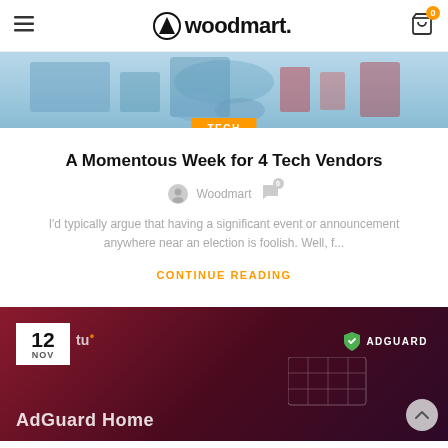woodmart.
[Figure (photo): Tech blog hero image showing laboratory/tech scene with blue tones]
A Momentous Week for 4 Tech Vendors
Woodmart · 0 comments
I'd typically argue that having a significant event or announcement anywhere near an election is foolish. Well, f...
CONTINUE READING
[Figure (photo): AdGuard Home banner with dark maroon/purple background, date badge 12 NOV, AdGuard logo, and partial 'AdGuard Home' text]